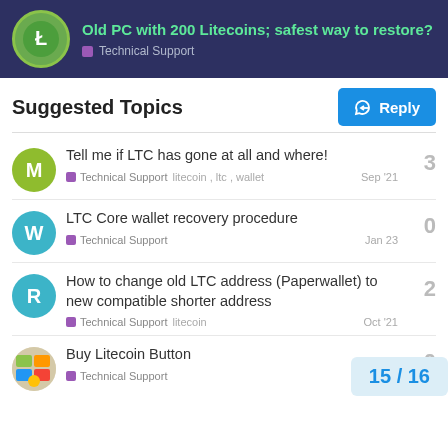Old PC with 200 Litecoins; safest way to restore? — Technical Support
Suggested Topics
Tell me if LTC has gone at all and where! — Technical Support — litecoin, ltc, wallet — Sep '21 — 3 replies
LTC Core wallet recovery procedure — Technical Support — Jan 23 — 0 replies
How to change old LTC address (Paperwallet) to new compatible shorter address — Technical Support — litecoin — Oct '21 — 2 replies
Buy Litecoin Button — Technical Support
15 / 16